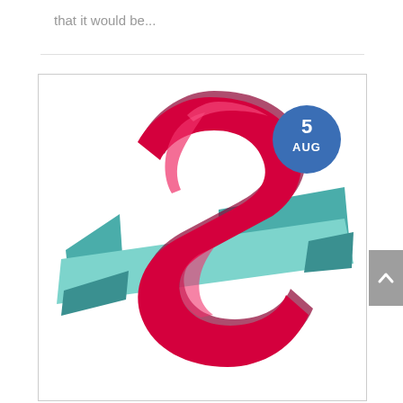that it would be...
[Figure (illustration): A large bold 3D letter S in crimson/red with a glossy finish, overlaid with teal/mint diagonal banner ribbons. A blue circular badge in the upper right shows '5 AUG' in white text.]